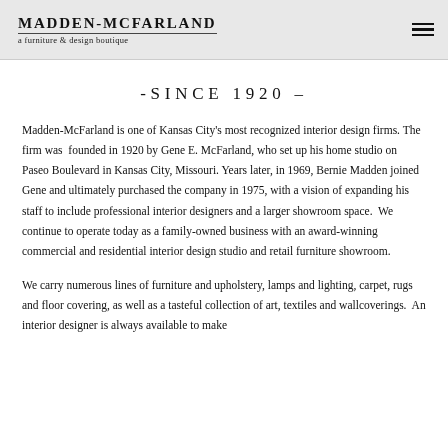Madden-McFarland — a furniture & design boutique
-SINCE 1920–
Madden-McFarland is one of Kansas City's most recognized interior design firms. The firm was founded in 1920 by Gene E. McFarland, who set up his home studio on Paseo Boulevard in Kansas City, Missouri. Years later, in 1969, Bernie Madden joined Gene and ultimately purchased the company in 1975, with a vision of expanding his staff to include professional interior designers and a larger showroom space.  We continue to operate today as a family-owned business with an award-winning commercial and residential interior design studio and retail furniture showroom.
We carry numerous lines of furniture and upholstery, lamps and lighting, carpet, rugs and floor covering, as well as a tasteful collection of art, textiles and wallcoverings.  An interior designer is always available to make